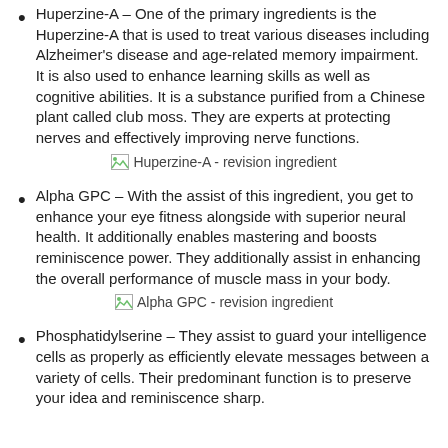Huperzine-A – One of the primary ingredients is the Huperzine-A that is used to treat various diseases including Alzheimer's disease and age-related memory impairment. It is also used to enhance learning skills as well as cognitive abilities. It is a substance purified from a Chinese plant called club moss. They are experts at protecting nerves and effectively improving nerve functions.
[Figure (illustration): Broken image placeholder labeled 'Huperzine-A - revision ingredient']
Alpha GPC – With the assist of this ingredient, you get to enhance your eye fitness alongside with superior neural health. It additionally enables mastering and boosts reminiscence power. They additionally assist in enhancing the overall performance of muscle mass in your body.
[Figure (illustration): Broken image placeholder labeled 'Alpha GPC - revision ingredient']
Phosphatidylserine – They assist to guard your intelligence cells as properly as efficiently elevate messages between a variety of cells. Their predominant function is to preserve your idea and reminiscence sharp.